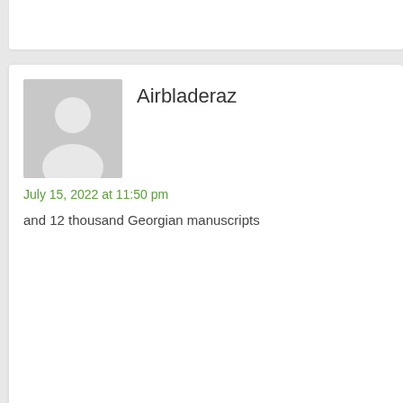Airbladeraz
July 15, 2022 at 11:50 pm
and 12 thousand Georgian manuscripts
Drywallihd
July 16, 2022 at 12:03 am
XVII century was Nicholas Jarry .